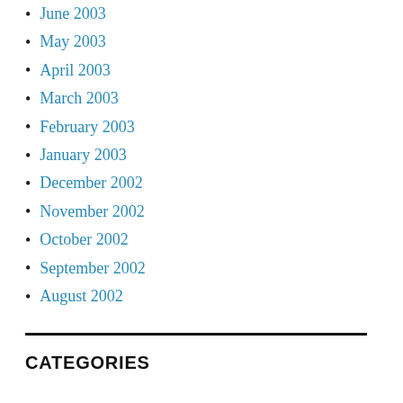June 2003
May 2003
April 2003
March 2003
February 2003
January 2003
December 2002
November 2002
October 2002
September 2002
August 2002
CATEGORIES